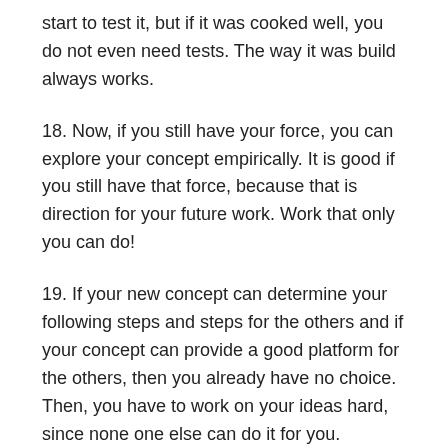start to test it, but if it was cooked well, you do not even need tests. The way it was build always works.
18. Now, if you still have your force, you can explore your concept empirically. It is good if you still have that force, because that is direction for your future work. Work that only you can do!
19. If your new concept can determine your following steps and steps for the others and if your concept can provide a good platform for the others, then you already have no choice. Then, you have to work on your ideas hard, since none one else can do it for you.